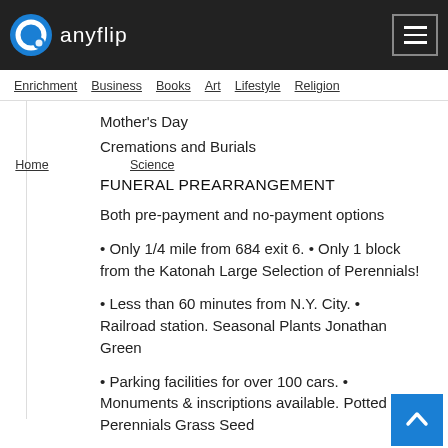anyflip
Enrichment  Business  Books  Art  Lifestyle  Religion
Mother's Day
Cremations and Burials
FUNERAL PREARRANGEMENT
Both pre-payment and no-payment options
• Only 1/4 mile from 684 exit 6. • Only 1 block from the Katonah Large Selection of Perennials!
• Less than 60 minutes from N.Y. City. • Railroad station. Seasonal Plants Jonathan Green
• Parking facilities for over 100 cars. • Monuments & inscriptions available. Potted Perennials Grass Seed